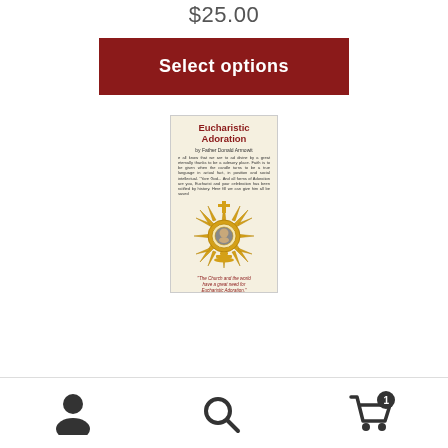$25.00
Select options
[Figure (photo): Book cover for 'Eucharistic Adoration' featuring the title in red, author name, small text, a golden monstrance illustration with a portrait in the center, and a quote: 'The Church and the world have a great need for Eucharistic Adoration.' — Saint John Paul II]
[Figure (other): Bottom navigation bar with person/account icon, search icon, and shopping cart icon with badge showing '1']